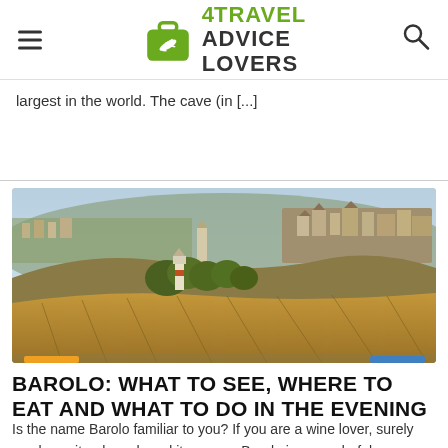4 Travel Advice Lovers
largest in the world. The cave (in [...]
[Figure (photo): Panoramic landscape photo of Barolo region in Italy, showing vineyard rows in the foreground with a hill town and church in the background under a clear sky]
BAROLO: WHAT TO SEE, WHERE TO EAT AND WHAT TO DO IN THE EVENING
Is the name Barolo familiar to you? If you are a wine lover, surely you know it or have heard it anyway. Barolo is a wonderful